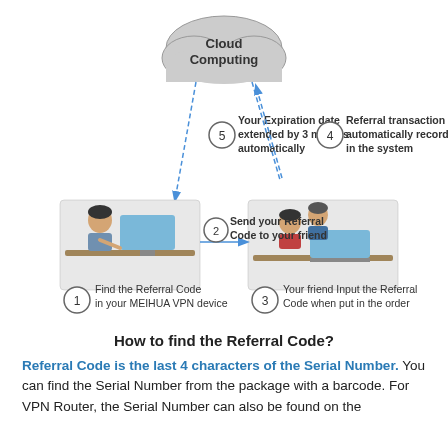[Figure (flowchart): Referral code process diagram showing a triangle flow between: Cloud Computing at top, a user at desk (bottom-left), and a friend at desk (bottom-right). Steps: 1) Find the Referral Code in your MEIHUA VPN device, 2) Send your Referral Code to your friend (arrow left to right), 3) Your friend Input the Referral Code when put in the order, 4) Referral transaction automatically recorded in the system (arrow right to top), 5) Your Expiration date extended by 3 months automatically (arrow top to left).]
How to find the Referral Code?
Referral Code is the last 4 characters of the Serial Number. You can find the Serial Number from the package with a barcode. For VPN Router, the Serial Number can also be found on the